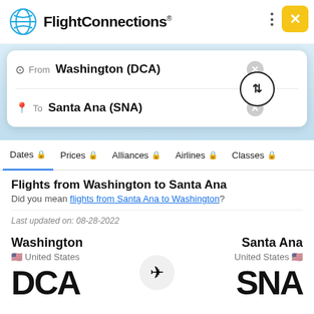[Figure (screenshot): FlightConnections app logo with globe icon and brand name]
From  Washington (DCA)
To  Santa Ana (SNA)
Dates  Prices  Alliances  Airlines  Classes
Flights from Washington to Santa Ana
Did you mean flights from Santa Ana to Washington?
Last updated on: 08-28-2022
Washington
United States
DCA
Santa Ana
United States
SNA